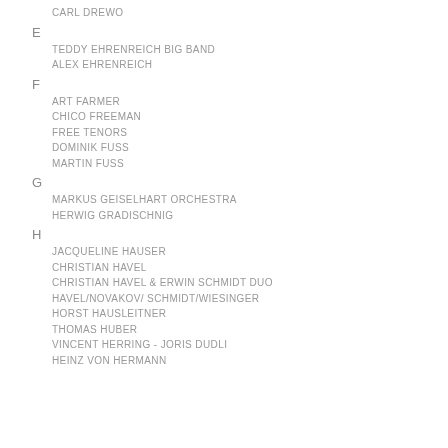CARL DREWO
E
TEDDY EHRENREICH BIG BAND
ALEX EHRENREICH
F
ART FARMER
CHICO FREEMAN
FREE TENORS
DOMINIK FUSS
MARTIN FUSS
G
MARKUS GEISELHART ORCHESTRA
HERWIG GRADISCHNIG
H
JACQUELINE HAUSER
CHRISTIAN HAVEL
CHRISTIAN HAVEL & ERWIN SCHMIDT DUO
HAVEL/NOVAKOV/ SCHMIDT/WIESINGER
HORST HAUSLEITNER
THOMAS HUBER
VINCENT HERRING - JORIS DUDLI
HEINZ VON HERMANN